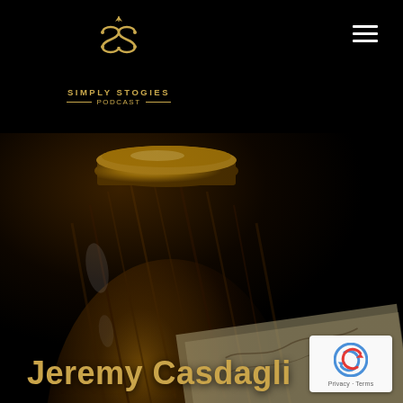[Figure (logo): Simply Stogies Podcast logo - gold stylized SS emblem with decorative spade shape above text reading SIMPLY STOGIES PODCAST with decorative lines]
[Figure (photo): Dark moody close-up photo of a decorative dark glass bottle or jar with ornate ridged surface and golden/brass top cap, with a handwritten signature on paper visible in lower right]
Jeremy Casdagli
[Figure (other): Google reCAPTCHA badge widget showing reCAPTCHA logo with Privacy and Terms links]